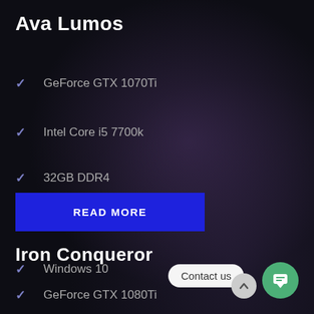Ava Lumos
GeForce GTX 1070Ti
Intel Core i5 7700k
32GB DDR4
480GB SSD + 2TB HDD
Windows 10
READ MORE
Iron Conqueror
GeForce GTX 1080Ti
Contact us